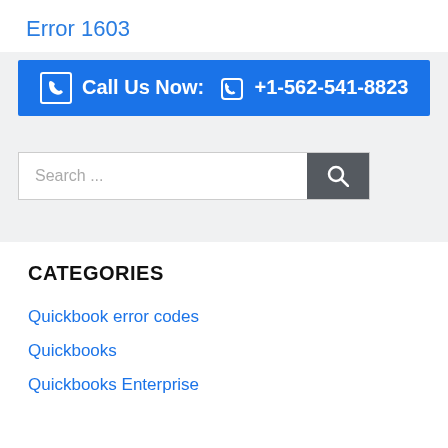Error 1603
Call Us Now: +1-562-541-8823
[Figure (other): Search bar with text 'Search ...' and a dark gray search button with magnifying glass icon]
CATEGORIES
Quickbook error codes
Quickbooks
Quickbooks Enterprise